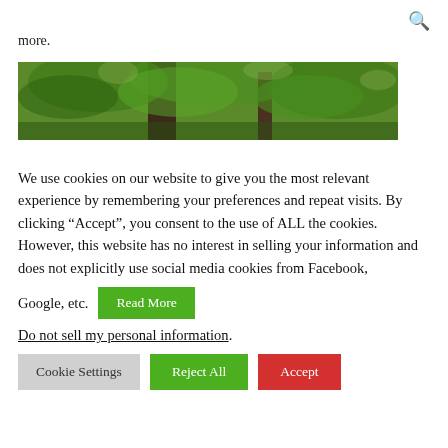[Figure (other): Search icon (magnifying glass) in top right corner]
more.
[Figure (photo): Photo of a forest with large trees and green foliage canopy]
We use cookies on our website to give you the most relevant experience by remembering your preferences and repeat visits. By clicking “Accept”, you consent to the use of ALL the cookies. However, this website has no interest in selling your information and does not explicitly use social media cookies from Facebook, Google, etc.
Do not sell my personal information.
Cookie Settings | Reject All | Accept